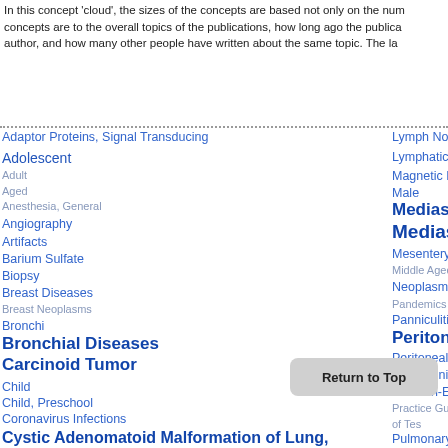In this concept 'cloud', the sizes of the concepts are based not only on the number of publications but also on how central the concepts are to the overall topics of the publications, how long ago the publications appeared, whether you are author, and how many other people have written about the same topic. The la...
Adaptor Proteins, Signal Transducing
Adolescent
Adult
Aged
Anesthesia, General
Angiography
Artifacts
Barium Sulfate
Biopsy
Breast Diseases
Breast Neoplasms
Bronchi
Bronchial Diseases
Carcinoid Tumor
Child
Child, Preschool
Coronavirus Infections
Cystic Adenomatoid Malformation of Lung, Congenital
Cytokinesis
Lymph Nodes
Lymphatic Metastasis
Magnetic Resonance I...
Male
Mediastinal Disease...
Mediastinum
Mesentery
Middle Aged
Neoplasms, Second P...
Pandemics
Panniculitis, Peritone...
Peritoneal Diseases...
Peritoneal Neoplasms
Pneumonia, Viral
Positron-Emission Tom...
Practice Guidelines as...
...of Tes...
Pulmonary Embolism
Radiation Dosage